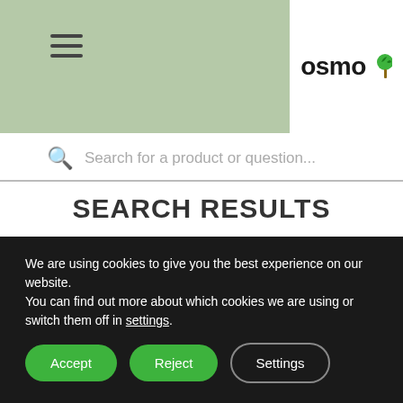[Figure (logo): Osmo logo with green tree icon in white box at top right]
Search for a product or question...
SEARCH RESULTS
REFINE YOUR SEARCH BELOW
Search Supplier Name | In: Somerset (Region)
We are using cookies to give you the best experience on our website.
You can find out more about which cookies we are using or switch them off in settings.
Accept | Reject | Settings